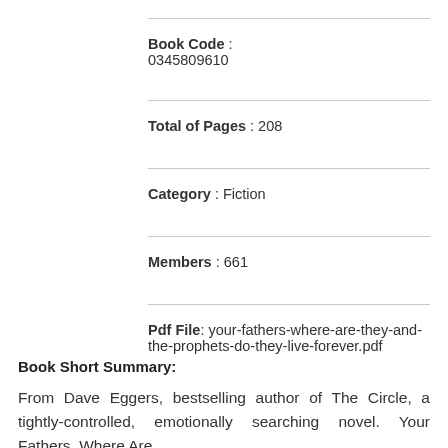Book Code : 0345809610
Total of Pages : 208
Category : Fiction
Members : 661
Pdf File: your-fathers-where-are-they-and-the-prophets-do-they-live-forever.pdf
Book Short Summary:
From Dave Eggers, bestselling author of The Circle, a tightly-controlled, emotionally searching novel. Your Fathers, Where Are